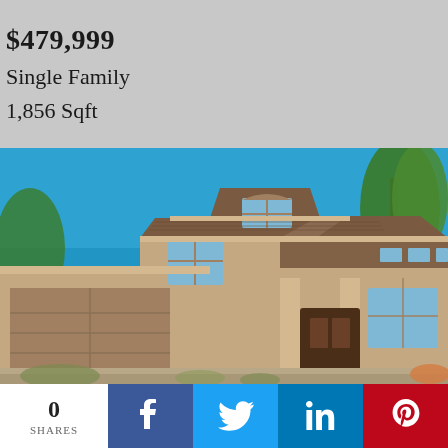$479,999
Single Family
1,856 Sqft
[Figure (photo): Exterior photo of a two-story tan/beige stucco single-family home with tile roof, two-car garage, arched entry, and desert landscaping under blue sky.]
0 SHARES
Facebook share button
Twitter share button
LinkedIn share button
Pinterest share button